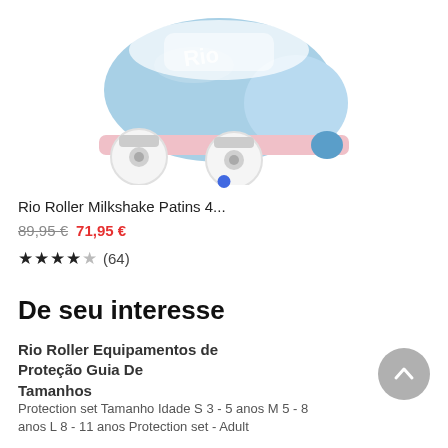[Figure (photo): Blue Rio Roller Milkshake quad roller skate with white wheels and pink sole plate, shown from the side on white background, with a blue circular carousel indicator dot below]
Rio Roller Milkshake Patins 4...
89,95 € 71,95 €
★★★★☆ (64)
De seu interesse
Rio Roller Equipamentos de Proteção Guia De Tamanhos
Protection set Tamanho Idade S 3 - 5 anos M 5 - 8 anos L 8 - 11 anos Protection set - Adult